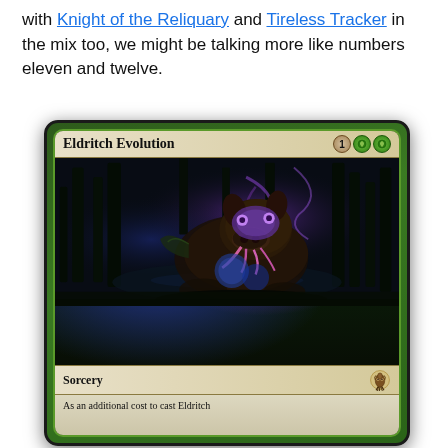with Knight of the Reliquary and Tireless Tracker in the mix too, we might be talking more like numbers eleven and twelve.
[Figure (photo): Magic: The Gathering card named 'Eldritch Evolution' with mana cost 1GG. Shows artwork of an eldritch pig-like creature with purple tentacles/markings sitting in a dark forest. Card type is Sorcery with a tentacle/squid symbol. Text reads 'As an additional cost to cast Eldritch...']